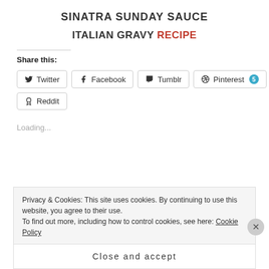SINATRA SUNDAY SAUCE
ITALIAN GRAVY RECIPE
Share this:
Twitter  Facebook  Tumblr  Pinterest 5  Reddit
Loading...
Privacy & Cookies: This site uses cookies. By continuing to use this website, you agree to their use. To find out more, including how to control cookies, see here: Cookie Policy
Close and accept